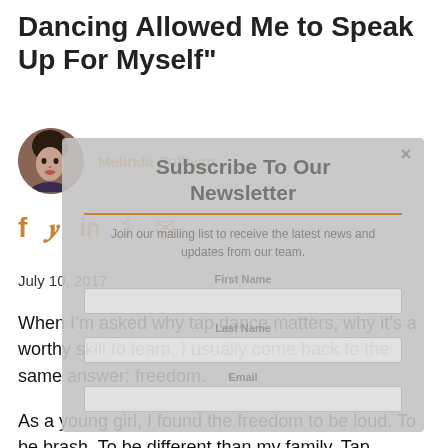Dancing Allowed Me to Speak Up For Myself"
Melinda Sullivan
July 10, 2017
When I'm asked why tap dance matters, why it's a worthy skill to learn, I usually come back to the same answer: freedom.
As a young girl, I found the freedom to be loud. To be brash. To be different than my family. Tap dancing
[Figure (other): Newsletter subscription overlay with title 'Subscribe To Our Newsletter', subtitle 'Join our mailing list to receive the latest news and updates from our team.', First Name field, Last Name field, Email field, and close button (x).]